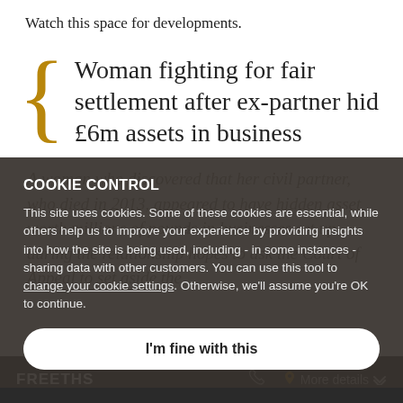Watch this space for developments.
Woman fighting for fair settlement after ex-partner hid £6m assets in business
A woman who discovered that her civil partner, who died in 2013, appeared to have hidden asset worth millions of pounds in businesses set up during the relationship hopes to ask the Court of Appeal to set aside the
COOKIE CONTROL
This site uses cookies. Some of these cookies are essential, while others help us to improve your experience by providing insights into how the site is being used, including - in some instances - sharing data with other customers. You can use this tool to change your cookie settings. Otherwise, we'll assume you're OK to continue.
I'm fine with this
FREETHS   More details